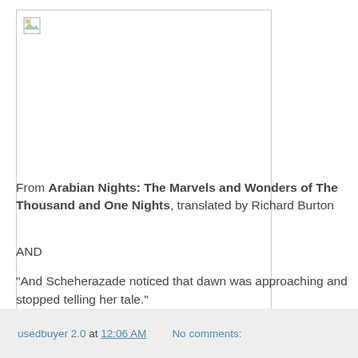[Figure (illustration): A broken/missing image placeholder with a small icon in the top-left corner, shown inside a light gray border box.]
From Arabian Nights: The Marvels and Wonders of The Thousand and One Nights, translated by Richard Burton
AND
"And Scheherazade noticed that dawn was approaching and stopped telling her tale."
usedbuyer 2.0 at 12:06 AM   No comments: